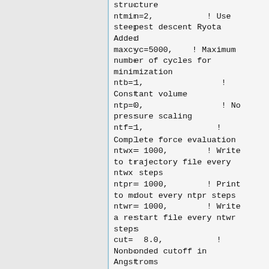structure
ntmin=2,           ! Use steepest descent Ryota Added
maxcyc=5000,    ! Maximum number of cycles for minimization
ntb=1,                ! Constant volume
ntp=0,                ! No pressure scaling
ntf=1,               !
Complete force evaluation
ntwx= 1000,        ! Write to trajectory file every ntwx steps
ntpr= 1000,        ! Print to mdout every ntpr steps
ntwr= 1000,        ! Write a restart file every ntwr steps
cut=  8.0,           ! Nonbonded cutoff in Angstroms
ntr=1,                ! Turn